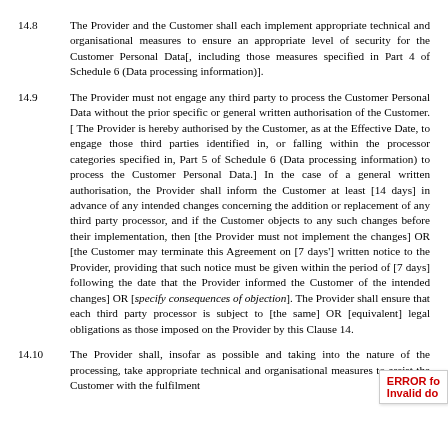14.8   The Provider and the Customer shall each implement appropriate technical and organisational measures to ensure an appropriate level of security for the Customer Personal Data[, including those measures specified in Part 4 of Schedule 6 (Data processing information)].
14.9   The Provider must not engage any third party to process the Customer Personal Data without the prior specific or general written authorisation of the Customer.[ The Provider is hereby authorised by the Customer, as at the Effective Date, to engage those third parties identified in, or falling within the processor categories specified in, Part 5 of Schedule 6 (Data processing information) to process the Customer Personal Data.] In the case of a general written authorisation, the Provider shall inform the Customer at least [14 days] in advance of any intended changes concerning the addition or replacement of any third party processor, and if the Customer objects to any such changes before their implementation, then [the Provider must not implement the changes] OR [the Customer may terminate this Agreement on [7 days'] written notice to the Provider, providing that such notice must be given within the period of [7 days] following the date that the Provider informed the Customer of the intended changes] OR [specify consequences of objection]. The Provider shall ensure that each third party processor is subject to [the same] OR [equivalent] legal obligations as those imposed on the Provider by this Clause 14.
14.10   The Provider shall, insofar as possible and taking into the nature of the processing, take appropriate technical and organisational measures to assist the Customer with the fulfilment